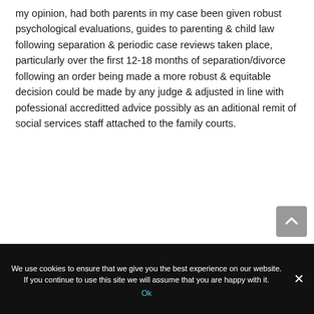my opinion, had both parents in my case been given robust psychological evaluations, guides to parenting & child law following separation & periodic case reviews taken place, particularly over the first 12-18 months of separation/divorce following an order being made a more robust & equitable decision could be made by any judge & adjusted in line with pofessional accreditted advice possibly as an aditional remit of social services staff attached to the family courts.
We use cookies to ensure that we give you the best experience on our website. If you continue to use this site we will assume that you are happy with it.
Ok